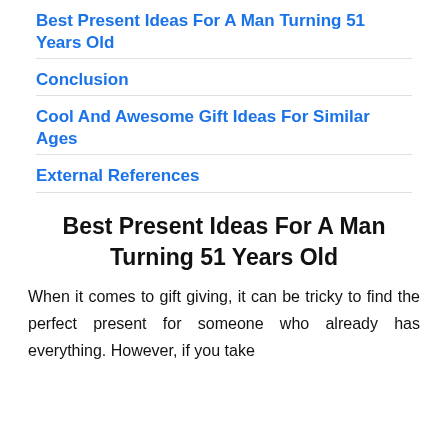Best Present Ideas For A Man Turning 51 Years Old
Conclusion
Cool And Awesome Gift Ideas For Similar Ages
External References
Best Present Ideas For A Man Turning 51 Years Old
When it comes to gift giving, it can be tricky to find the perfect present for someone who already has everything. However, if you take